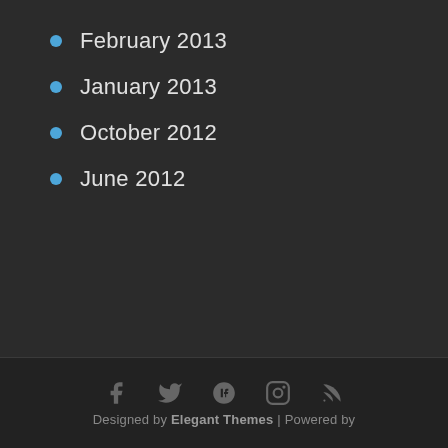February 2013
January 2013
October 2012
June 2012
Designed by Elegant Themes | Powered by